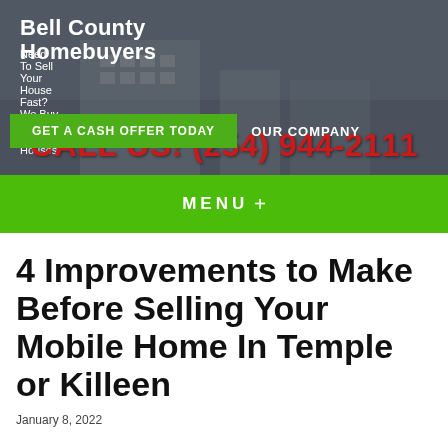Bell County Homebuyers
Need To Sell Your House Fast? We Buy Bell County Houses!
CALL US! (254) 944-2111
GET A CASH OFFER TODAY   OUR COMPANY
MENU +
4 Improvements to Make Before Selling Your Mobile Home In Temple or Killeen
January 8, 2022